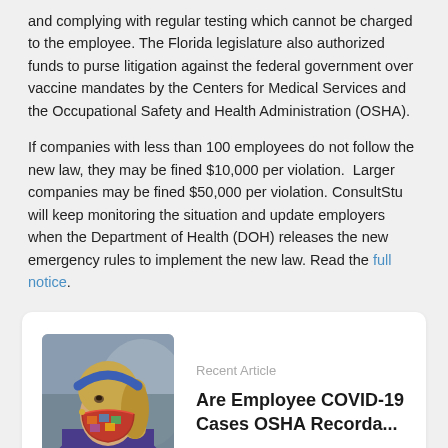and complying with regular testing which cannot be charged to the employee. The Florida legislature also authorized funds to purse litigation against the federal government over vaccine mandates by the Centers for Medical Services and the Occupational Safety and Health Administration (OSHA).
If companies with less than 100 employees do not follow the new law, they may be fined $10,000 per violation.  Larger companies may be fined $50,000 per violation. ConsultStu will keep monitoring the situation and update employers when the Department of Health (DOH) releases the new emergency rules to implement the new law. Read the full notice.
[Figure (photo): Woman wearing a colorful face mask and blue headband, viewed from the side]
Recent Article
Are Employee COVID-19 Cases OSHA Recorda...